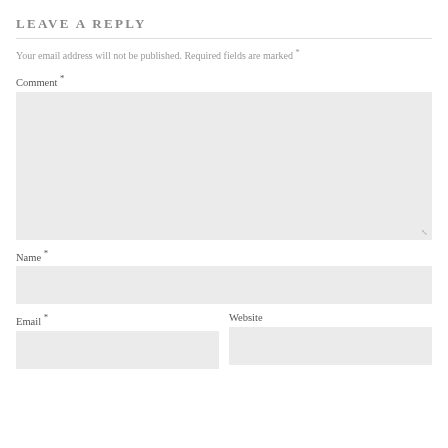LEAVE A REPLY
Your email address will not be published. Required fields are marked *
Comment *
Name *
Email *
Website